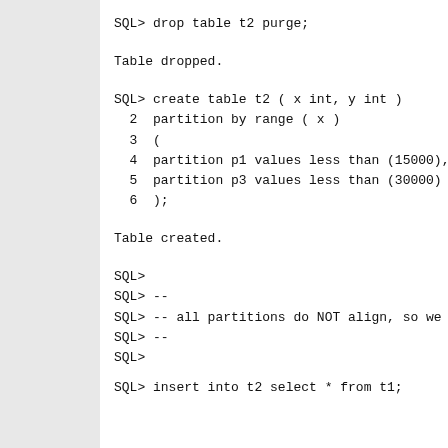SQL> drop table t2 purge;
Table dropped.
SQL> create table t2 ( x int, y int )
  2  partition by range ( x )
  3  (
  4  partition p1 values less than (15000),
  5  partition p3 values less than (30000)
  6  );
Table created.
SQL>
SQL> --
SQL> -- all partitions do NOT align, so we do NOT
SQL> --
SQL>
SQL> insert into t2 select * from t1;